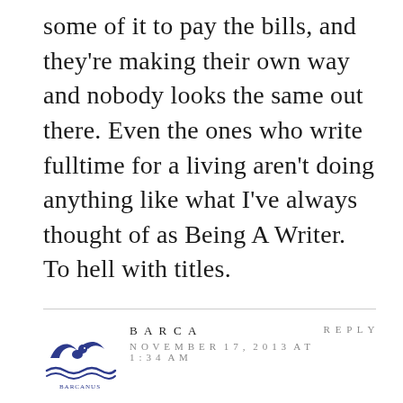some of it to pay the bills, and they're making their own way and nobody looks the same out there. Even the ones who write fulltime for a living aren't doing anything like what I've always thought of as Being A Writer.
To hell with titles.
[Figure (logo): BARCANUS logo with stylized bird/wave design in dark blue]
BARCA
NOVEMBER 17, 2013 AT 1:34 AM
REPLY